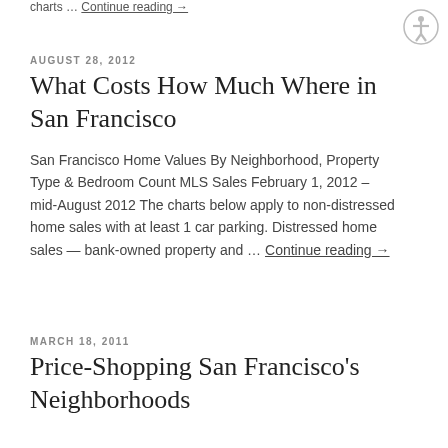charts … Continue reading →
AUGUST 28, 2012
What Costs How Much Where in San Francisco
San Francisco Home Values By Neighborhood, Property Type & Bedroom Count MLS Sales February 1, 2012 – mid-August 2012 The charts below apply to non-distressed home sales with at least 1 car parking. Distressed home sales — bank-owned property and … Continue reading →
MARCH 18, 2011
Price-Shopping San Francisco's Neighborhoods